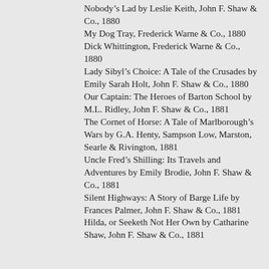Nobody's Lad by Leslie Keith, John F. Shaw & Co., 1880
My Dog Tray, Frederick Warne & Co., 1880
Dick Whittington, Frederick Warne & Co., 1880
Lady Sibyl's Choice: A Tale of the Crusades by Emily Sarah Holt, John F. Shaw & Co., 1880
Our Captain: The Heroes of Barton School by M.L. Ridley, John F. Shaw & Co., 1881
The Cornet of Horse: A Tale of Marlborough's Wars by G.A. Henty, Sampson Low, Marston, Searle & Rivington, 1881
Uncle Fred's Shilling: Its Travels and Adventures by Emily Brodie, John F. Shaw & Co., 1881
Silent Highways: A Story of Barge Life by Frances Palmer, John F. Shaw & Co., 1881
Hilda, or Seeketh Not Her Own by Catharine Shaw, John F. Shaw & Co., 1881